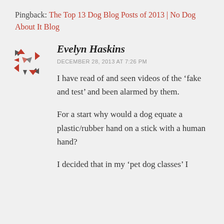Pingback: The Top 13 Dog Blog Posts of 2013 | No Dog About It Blog
[Figure (illustration): Red and dark geometric avatar icon made of arrow/chevron shapes pointing outward in four diagonal directions, forming a snowflake-like pattern]
Evelyn Haskins
DECEMBER 28, 2013 AT 7:26 PM
I have read of and seen videos of the ‘fake and test’ and been alarmed by them.
For a start why would a dog equate a plastic/rubber hand on a stick with a human hand?
I decided that in my ‘pet dog classes’ I